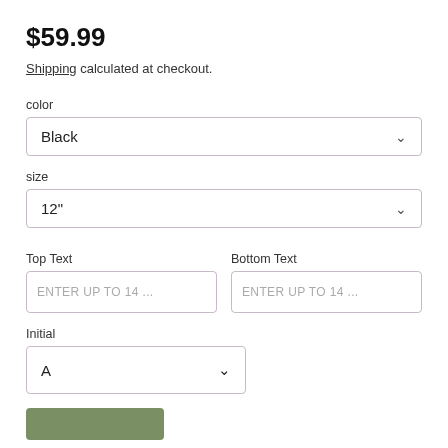$59.99
Shipping calculated at checkout.
color
Black
size
12"
Top Text
ENTER UP TO 14 ...
Bottom Text
ENTER UP TO 14 ...
Initial
A